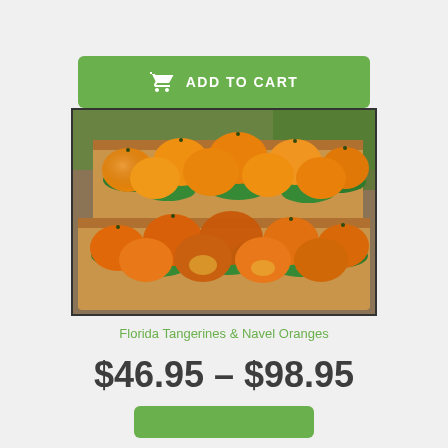ADD TO CART
[Figure (photo): Two cardboard boxes of Florida tangerines and navel oranges packed with green tissue paper, photographed from above at an angle.]
Florida Tangerines & Navel Oranges
$46.95 - $98.95